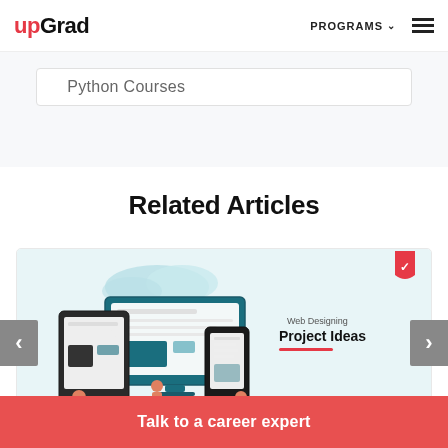upGrad | PROGRAMS ☰
Python Courses
Related Articles
[Figure (illustration): Web Designing Project Ideas illustration showing desktop monitor, tablet, and mobile phone devices with decorative elements and upGrad logo shield in top right corner]
Talk to a career expert